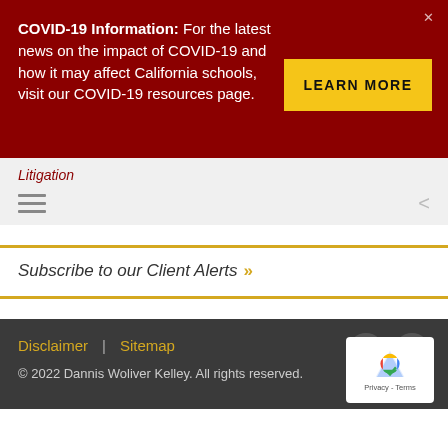COVID-19 Information: For the latest news on the impact of COVID-19 and how it may affect California schools, visit our COVID-19 resources page.
LEARN MORE
Litigation
Subscribe to our Client Alerts »
Disclaimer | Sitemap
© 2022 Dannis Woliver Kelley. All rights reserved.